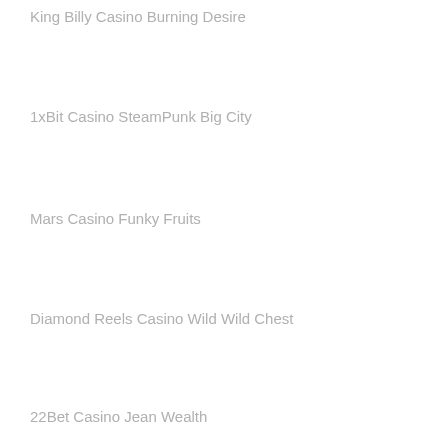King Billy Casino Burning Desire
1xBit Casino SteamPunk Big City
Mars Casino Funky Fruits
Diamond Reels Casino Wild Wild Chest
22Bet Casino Jean Wealth